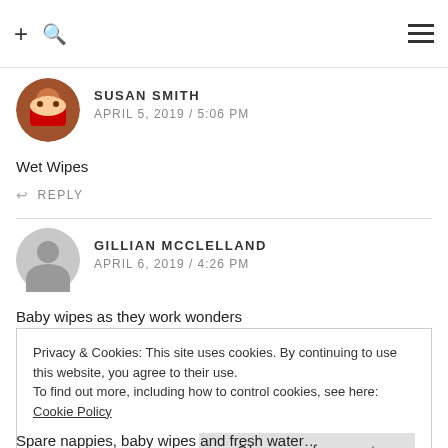+ 🔍  ≡
SUSAN SMITH
APRIL 5, 2019 / 5:06 PM
Wet Wipes
↩ REPLY
GILLIAN MCCLELLAND
APRIL 6, 2019 / 4:26 PM
Baby wipes as they work wonders
Privacy & Cookies: This site uses cookies. By continuing to use this website, you agree to their use.
To find out more, including how to control cookies, see here: Cookie Policy
Close and accept
Spare nappies, baby wipes and fresh water...